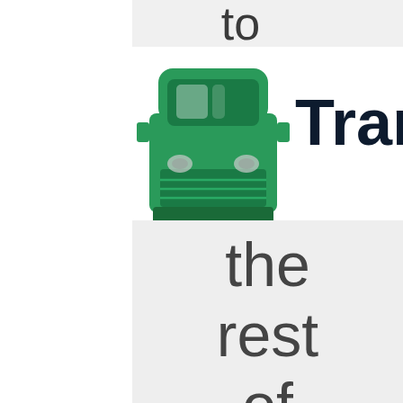to
[Figure (illustration): Front-facing green semi truck / transport truck icon]
Transp
the rest of the